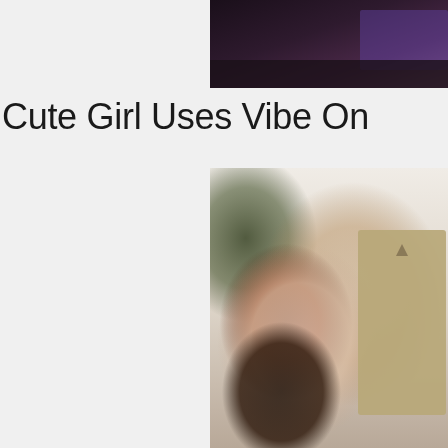[Figure (photo): Partial photo at top right, dark background with purple tones]
Cute Girl Uses Vibe On
[Figure (photo): Photo of a woman with red hair in a black corset, seated, with a tan overlay rectangle partially obscuring the image]